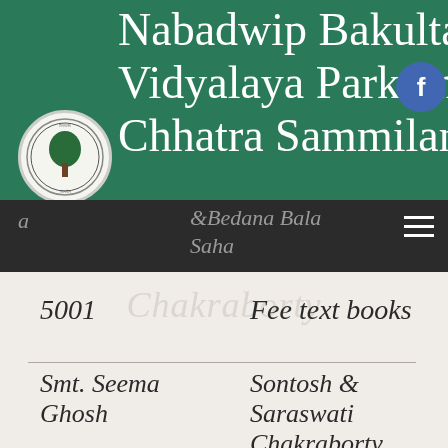Nabadwip Bakultala Vidyalaya Parktana Chhatra Sammilan
&Bedana Bala Saha
| Amount | Purpose |
| --- | --- |
| 5001 | Fee text books |
| Smt. Seema Ghosh | Sontosh & Saraswati Chakraborty |
| 6000/- | Fee text books |